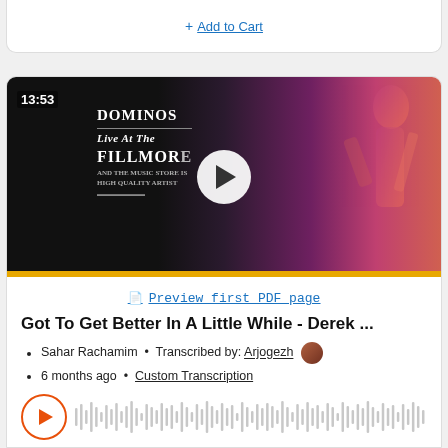+ Add to Cart
[Figure (screenshot): Video thumbnail of Derek and the Dominos Live at the Fillmore, showing album cover art with play button overlay and timestamp 13:53]
Preview first PDF page
Got To Get Better In A Little While - Derek ...
Sahar Rachamim  •  Transcribed by: Arjogezh
6 months ago  •  Custom Transcription
[Figure (other): Audio waveform player with orange play button circle]
Length FULL
Delivery Files: PDF, Guitar Pro